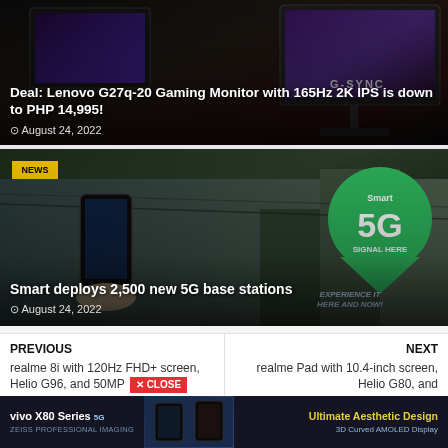[Figure (photo): Lenovo G27q-20 gaming monitor photo card with dark background]
Deal: Lenovo G27q-20 Gaming Monitor with 165Hz 2K IPS is down to PHP 14,995!
August 24, 2022
[Figure (photo): Smart 5G signal here outdoor signage with person holding smartphone]
Smart deploys 2,500 new 5G base stations
August 24, 2022
PREVIOUS
realme 8i with 120Hz FHD+ screen, Helio G96, and 50MP
NEXT
realme Pad with 10.4-inch screen, Helio G80, and
[Figure (photo): vivo X80 Series 5G advertisement banner with ZEISS Professional Imaging and Ultimate Aesthetic Design text]